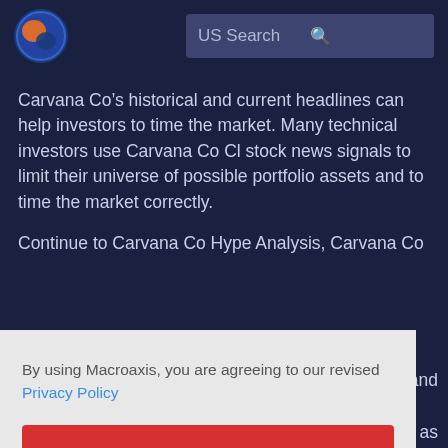[Figure (logo): Macroaxis globe logo — orange and blue circular icon]
US Search
Carvana Co’s historical and current headlines can help investors to time the market. Many technical investors use Carvana Co Cl stock news signals to limit their universe of possible portfolio assets and to time the market correctly.
Continue to Carvana Co Hype Analysis, Carvana Co
By using Macroaxis, you are agreeing to our revised Privacy Policy
OK
and
as
existing portfolios.